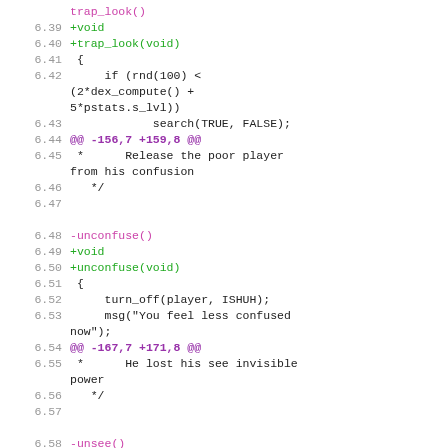Code diff showing trap_look, unconfuse, and unsee functions with line numbers 6.39–6.61+